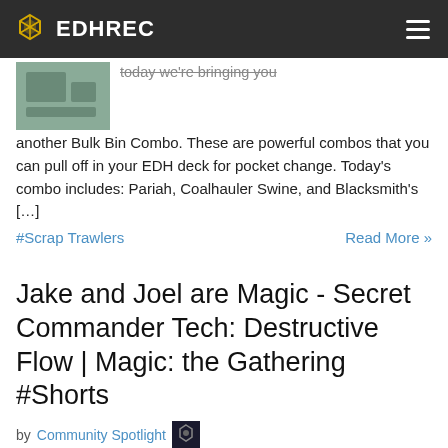EDHREC
today we're bringing you another Bulk Bin Combo. These are powerful combos that you can pull off in your EDH deck for pocket change. Today's combo includes: Pariah, Coalhauler Swine, and Blacksmith's [...]
#Scrap Trawlers   Read More »
Jake and Joel are Magic - Secret Commander Tech: Destructive Flow | Magic: the Gathering #Shorts
by Community Spotlight
Support us on Patreon!